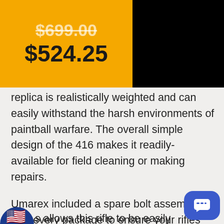$699.00
$524.25
replica is realistically weighted and can easily withstand the harsh environments of paintball warfare. The overall simple design of the 416 makes it readily-available for field cleaning or making repairs.
Umarex included a spare bolt assembly in with every package to ensure your rifles reliability despite your ammo preference. Players can use the 6 position adjustable crane stock to find the perfect level of comfort for keeping the rifle stable when taking aim. A rear sling mount allows this rifle to be easily carried o...